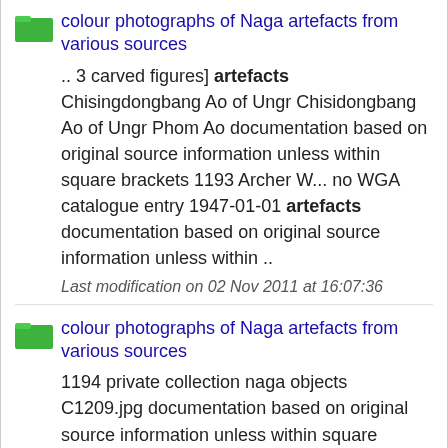colour photographs of Naga artefacts from various sources
.. 3 carved figures] artefacts Chisingdongbang Ao of Ungr Chisidongbang Ao of Ungr Phom Ao documentation based on original source information unless within square brackets 1193 Archer W... no WGA catalogue entry 1947-01-01 artefacts documentation based on original source information unless within ..
Last modification on 02 Nov 2011 at 16:07:36
colour photographs of Naga artefacts from various sources
1194 private collection naga objects C1209.jpg documentation based on original source information unless within square brackets naga objects C1209...jpg [drinking vessel] artefacts 1194 documentation based on original source information unless within square brackets Archer W... private collection